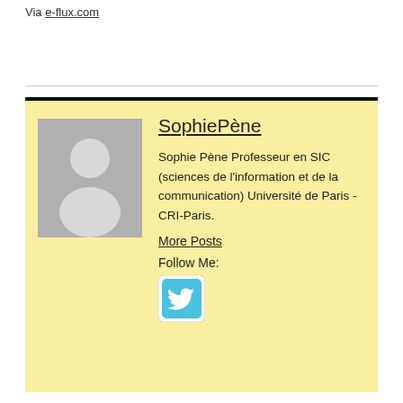Via e-flux.com
[Figure (illustration): Author profile card with avatar placeholder, name SophiePène, bio text, More Posts link, and Follow Me Twitter icon on yellow background]
SophiePène
Sophie Pène Professeur en SIC (sciences de l'information et de la communication) Université de Paris - CRI-Paris.
More Posts
Follow Me: